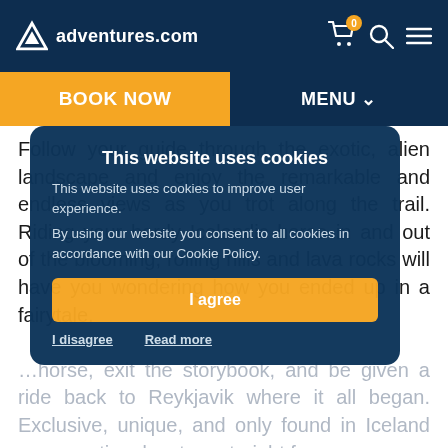adventures.com
BOOK NOW
MENU
Follow your guide through the exotic, alien landscape and enjoy the remarkable and endless views as you trot along the trail. Riding your hardy Icelandic horse in and out of the blooming, rolling hills and lava rocks will have you wondering how you ended up in a fairytale. ... horse, exit the storybook, and be given a ride back to Reykjavik where it all began. Exclusive, unique, and only found in Iceland — an arctic adventure straight from a
This website uses cookies
This website uses cookies to improve user experience.
By using our website you consent to all cookies in accordance with our Cookie Policy.
I agree
I disagree
Read more